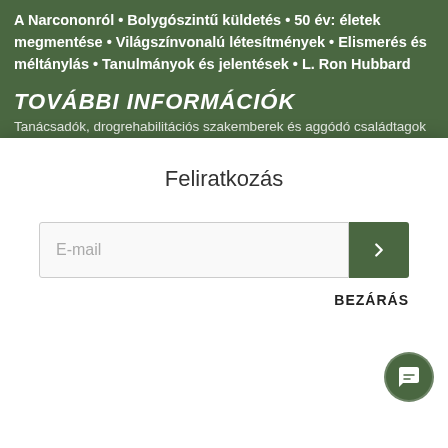A Narcononról • Bolygószintű küldetés • 50 év: életek megmentése • Világszínvonalú létesítmények • Elismerés és méltánylás • Tanulmányok és jelentések • L. Ron Hubbard
TOVÁBBI INFORMÁCIÓK
Tanácsadók, drogrehabilitációs szakemberek és aggódó családtagok
Feliratkozás
E-mail
BEZÁRÁS
A Narconon egy globális sikertörténet
Narconon.org • Egyesült Államok • Európa • Egyesült Királyság • Latin-Amerika • Nepál
Nyelv: Hungarian